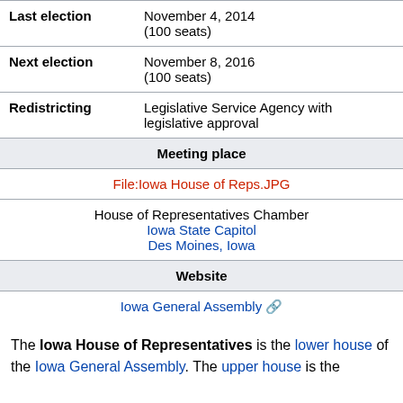| Last election | November 4, 2014
(100 seats) |
| Next election | November 8, 2016
(100 seats) |
| Redistricting | Legislative Service Agency with legislative approval |
| Meeting place |  |
|  | File:Iowa House of Reps.JPG |
|  | House of Representatives Chamber
Iowa State Capitol
Des Moines, Iowa |
| Website |  |
|  | Iowa General Assembly |
The Iowa House of Representatives is the lower house of the Iowa General Assembly. The upper house is the